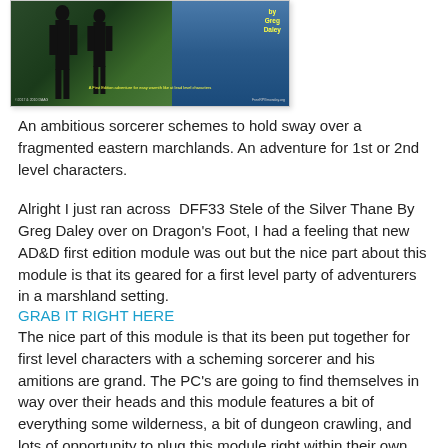[Figure (illustration): Book or module cover image showing two silhouetted figures against a green and blue background, with yellow text reading 'by Greg Daley', a subtitle in yellow text, and small footer text at the bottom.]
An ambitious sorcerer schemes to hold sway over a fragmented eastern marchlands. An adventure for 1st or 2nd level characters.
Alright I just ran across  DFF33 Stele of the Silver Thane By Greg Daley over on Dragon's Foot, I had a feeling that new AD&D first edition module was out but the nice part about this module is that its geared for a first level party of adventurers in a marshland setting.
GRAB IT RIGHT HERE
The nice part of this module is that its been put together for first level characters with a scheming sorcerer and his amitions are grand. The PC's are going to find themselves in way over their heads and this module features a bit of everything some wilderness, a bit of dungeon crawling, and lots of opportunity to plug this module right within their own campaign worlds. Reading through this adventure I was reminded of my review of